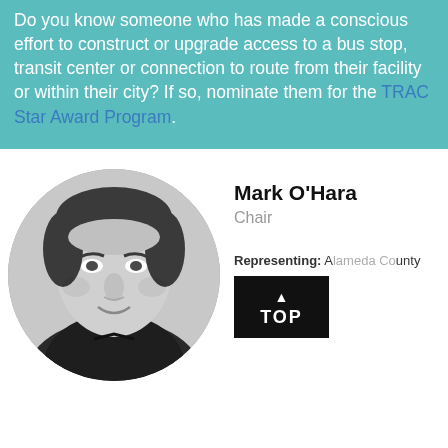Do you know someone who has made a conscious effort to construct or upgrade access to a bus stop, transit center or connection to route from their facility or within their city? If so, nominate them for the TRAC Star Award Program.
[Figure (photo): Black and white circular portrait photo of Mark O'Hara, a man with dark hair, smiling slightly, wearing a dark V-neck shirt]
Mark O'Hara
Chair
Representing: A[...] unty